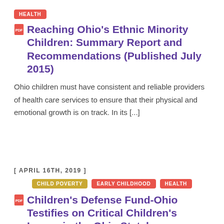HEALTH
Reaching Ohio's Ethnic Minority Children: Summary Report and Recommendations (Published July 2015)
Ohio children must have consistent and reliable providers of health care services to ensure that their physical and emotional growth is on track. In its [...]
[ APRIL 16TH, 2019 ]
CHILD POVERTY  EARLY CHILDHOOD  HEALTH
Children's Defense Fund-Ohio Testifies on Critical Children's Issues in the Ohio Statehouse
The CDF-Ohio team joined other child advocates